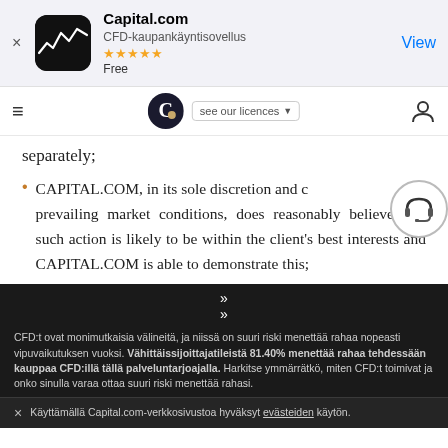[Figure (screenshot): Capital.com app banner with icon, star rating, and View button]
[Figure (screenshot): Navigation bar with hamburger menu, Capital.com logo, see our licences dropdown, and user icon]
separately;
CAPITAL.COM, in its sole discretion and considering prevailing market conditions, does reasonably believe that such action is likely to be within the client's best interests and CAPITAL.COM is able to demonstrate this;
CFD:t ovat monimutkaisia välineitä, ja niissä on suuri riski menettää rahaa nopeasti vipuvaikutuksen vuoksi. Vähittäissijoittajatileistä 81.40% menettää rahaa tehdessään kauppaa CFD:illä tällä palveluntarjoajalla. Harkitse ymmärrätkö, miten CFD:t toimivat ja onko sinulla varaa ottaa suuri riski menettää rahasi.
Käyttämällä Capital.com-verkkosivustoa hyväksyt evästeiden käytön.